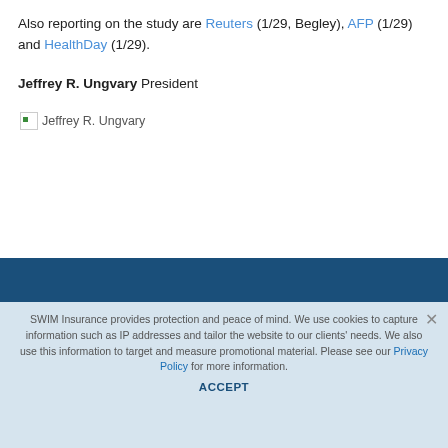Also reporting on the study are Reuters (1/29, Begley), AFP (1/29) and HealthDay (1/29).
Jeffrey R. Ungvary President
[Figure (other): Broken image placeholder labeled 'Jeffrey R. Ungvary']
SWIM Insurance provides protection and peace of mind. We use cookies to capture information such as IP addresses and tailor the website to our clients' needs. We also use this information to target and measure promotional material. Please see our Privacy Policy for more information.
ACCEPT